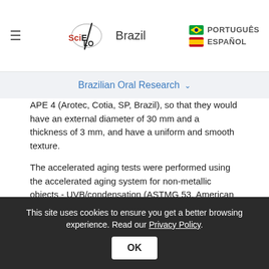≡  SciELO Brazil    PORTUGUÊS  ESPAÑOL
Brazilian Oral Research ∨
APE 4 (Arotec, Cotia, SP, Brazil), so that they would have an external diameter of 30 mm and a thickness of 3 mm, and have a uniform and smooth texture.
The accelerated aging tests were performed using the accelerated aging system for non-metallic objects - UVB/condensation (ASTMG 53, American Society for Testing Materials Norma 53, Comexim Matérias Primas Ind. Com. Ltda., São Paulo, SP, Brazil). Due to the dimensions of the specimens, they were exposed to maximum degradation in the aging chamber. All of the specimens were bonded
This site uses cookies to ensure you get a better browsing experience. Read our Privacy Policy.   OK